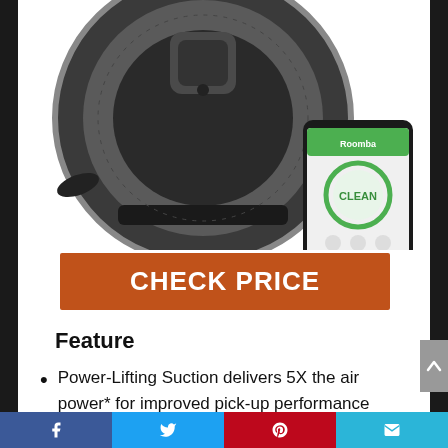[Figure (photo): Top-down view of an iRobot Roomba robotic vacuum cleaner (dark grey/silver circular device) with a smartphone showing the Roomba app with a green 'CLEAN' button displayed on screen, placed to the lower right of the robot.]
CHECK PRICE
Feature
Power-Lifting Suction delivers 5X the air power* for improved pick-up performance
Social share bar with Facebook, Twitter, Pinterest, and Email icons